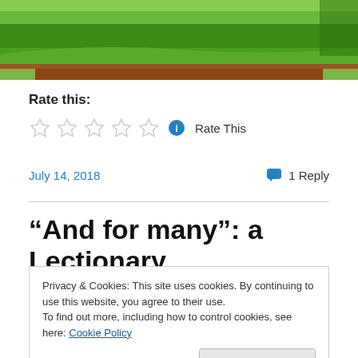[Figure (photo): Green grass/field landscape with brown soil path, cropped header image of a blog post]
Rate this:
[Figure (other): Five empty star rating widgets with an info circle icon and 'Rate This' text]
July 14, 2018   1 Reply
“And for many”: a Lectionary
Privacy & Cookies: This site uses cookies. By continuing to use this website, you agree to their use.
To find out more, including how to control cookies, see here: Cookie Policy
Close and accept
phrase. Jesus spoke over the wine was translated as “for